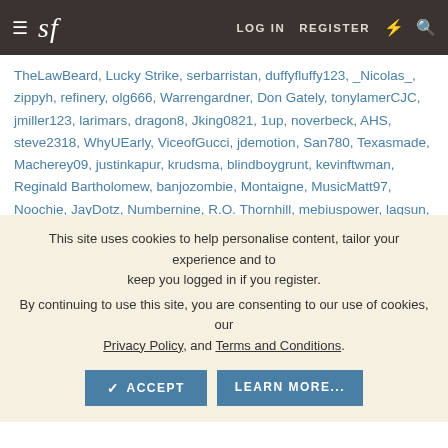sf  LOG IN  REGISTER
TheLawBeard, Lucky Strike, serbarristan, duffyfluffy123, _Nicolas_, zippyh, refinery, olg666, Warrengardner, Don Gately, tonylamerCJC, jmiller123, larimars, dragon8, Jking0821, 1up, noverbeck, AHS, steve2318, WhyUEarly, ViceofGucci, jdemotion, San780, Texasmade, Macherey09, justinkapur, krudsma, blindboygrunt, kevinftwman, Reginald Bartholomew, banjozombie, Montaigne, MusicMatt97, Noochie, JayDotz, Numbernine, R.O. Thornhill, mebiuspower, lagsun, DenOyx, facebbook, Hombre Secreto,
This site uses cookies to help personalise content, tailor your experience and to keep you logged in if you register.
By continuing to use this site, you are consenting to our use of cookies, our Privacy Policy, and Terms and Conditions.
FORUM STATISTICS
|  |  |
| --- | --- |
| Threads: | 479,694 |
| Messages: | 10,223,932 |
| Members: | 214,976 |